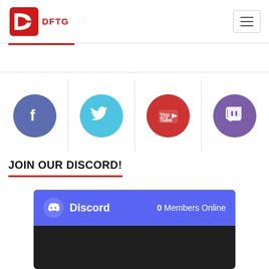DFTG
[Figure (illustration): Social media icon circles: Facebook (blue), Twitter (cyan), YouTube (red), Twitch (purple)]
JOIN OUR DISCORD!
[Figure (screenshot): Discord widget showing 0 Members Online with Discord logo and dark body area]